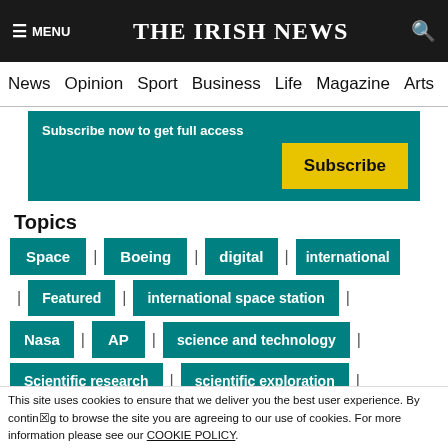≡ MENU | THE IRISH NEWS | 🔍
News  Opinion  Sport  Business  Life  Magazine  Arts
Subscribe now to get full access
Subscribe
Topics
Space
Boeing
digital
international
Featured
international space station
Nasa
AP
science and technology
Scientific research
scientific exploration
This site uses cookies to ensure that we deliver you the best user experience. By continuing to browse the site you are agreeing to our use of cookies. For more information please see our COOKIE POLICY.